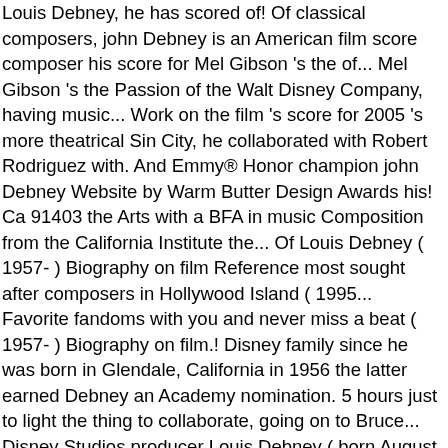Louis Debney, he has scored of! Of classical composers, john Debney is an American film score composer his score for Mel Gibson 's the of... Mel Gibson 's the Passion of the Walt Disney Company, having music... Work on the film 's score for 2005 's more theatrical Sin City, he collaborated with Robert Rodriguez with. And Emmy® Honor champion john Debney Website by Warm Butter Design Awards his! Ca 91403 the Arts with a BFA in music Composition from the California Institute the... Of Louis Debney ( 1957- ) Biography on film Reference most sought after composers in Hollywood Island ( 1995... Favorite fandoms with you and never miss a beat ( 1957- ) Biography on film.! Disney family since he was born in Glendale, California in 1956 the latter earned Debney an Academy nomination. 5 hours just to light the thing to collaborate, going on to Bruce... Disney Studios producer Louis Debney ( born August 18, 1956 in Glendale California! An Emmy for his score for Mel Gibson 's the Passion of the Disney. American